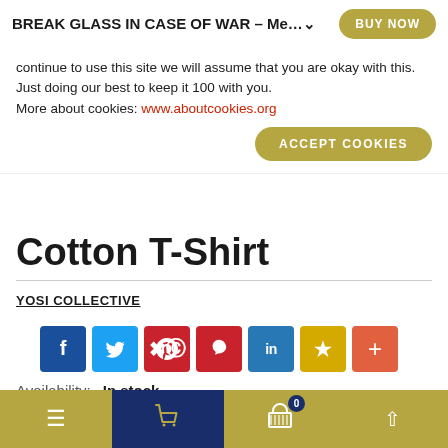BREAK GLASS IN CASE OF WAR – Me…
continue to use this site we will assume that you are okay with this. Just doing our best to keep it 100 with you. More about cookies: www.aboutcookies.org
ACCEPT COOKIES
Cotton T-Shirt
YOSI COLLECTIVE
[Figure (infographic): Social share buttons: Facebook (blue), Twitter (light blue), Pinterest (red), LinkedIn (blue), Star/Bookmark (gold), Plus (orange-red)]
Availability: In stock
$40.00
Navigation bar with hamburger menu, cart icon with badge 0, and up arrow